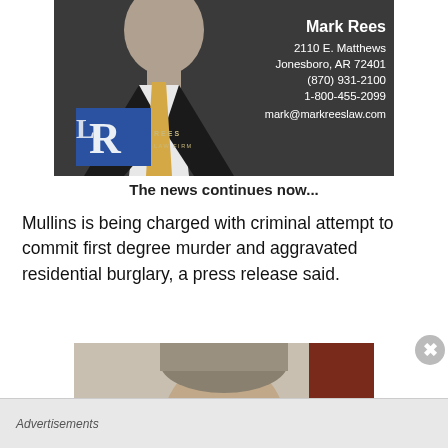[Figure (photo): Advertisement photo of a man in a dark suit with a yellow tie, with overlaid contact information for Mark Rees law firm: 2110 E. Matthews, Jonesboro, AR 72401, (870) 931-2100, 1-800-455-2099, mark@markreeslaw.com. The Rees Law Firm logo is visible in the lower left of the photo.]
The news continues now...
Mullins is being charged with criminal attempt to commit first degree murder and aggravated residential burglary, a press release said.
[Figure (photo): Mugshot photo of a man with short hair, cropped at the forehead, with a reddish-brown background panel visible on the right.]
Advertisements